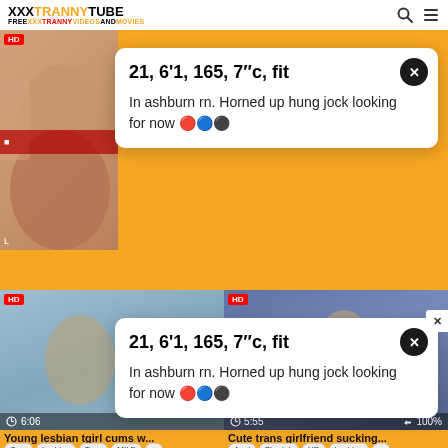XXXTRANNYTUBE FREEXXXTRANNYVIDEOSANDMOVIES
21, 6'1, 165, 7"c, fit
In ashburn rn. Horned up hung jock looking for now 🔴🔵⚫
21, 6'1, 165, 7"c, fit
In ashburn rn. Horned up hung jock looking for now 🔴🔵⚫
[Figure (screenshot): Video thumbnail: Young lesbian tgirl cums w... with HD badge, duration 6:06]
Young lesbian tgirl cums w...
Cum | Lesbian | Teen | MILF | ...
[Figure (screenshot): Video thumbnail: Cute trans girlfriend sucking... with HD badge, duration 5:55, rating 100%]
Cute trans girlfriend sucking...
Anal | Blowjob | HD | Lesbian | ...
[Figure (screenshot): Video thumbnail bottom left: HD badge, blonde woman]
[Figure (screenshot): Video thumbnail bottom right: two people near window]